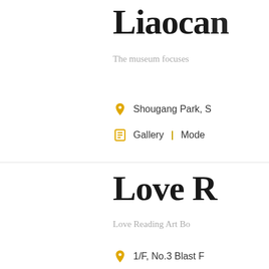Liaocan
The museum focuses
Shougang Park, S
Gallery | Mode
Love R
Love Reading Art Bo
1/F, No.3 Blast F